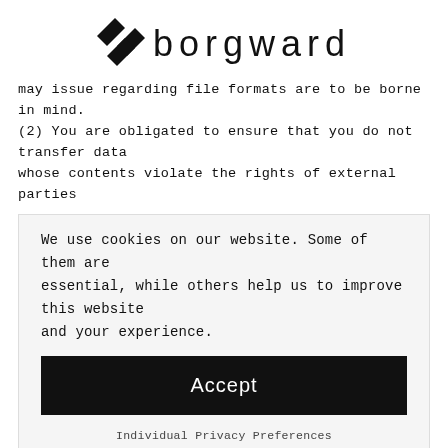[Figure (logo): Borgward logo with geometric arrow icon and the text 'borgward' in light spaced sans-serif letters]
may issue regarding file formats are to be borne in mind. (2) You are obligated to ensure that you do not transfer data whose contents violate the rights of external parties
We use cookies on our website. Some of them are essential, while others help us to improve this website and your experience.
Accept
Individual Privacy Preferences